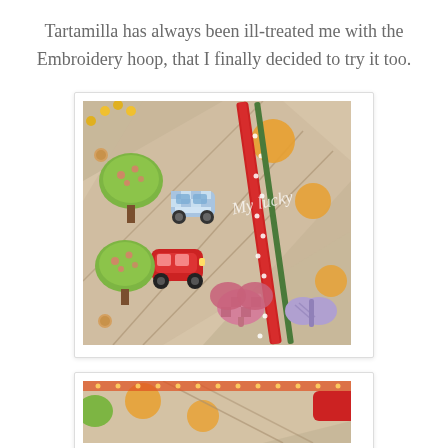Tartamilla has always been ill-treated me with the Embroidery hoop, that I finally decided to try it too.
[Figure (photo): Craft fabric items with appliqued trees, cars, butterflies and flowers on linen, with red dotted ribbon/strap, watermark text 'My lucky']
[Figure (photo): Partial view of similar craft fabric items with applique designs, partially cropped at bottom of page]